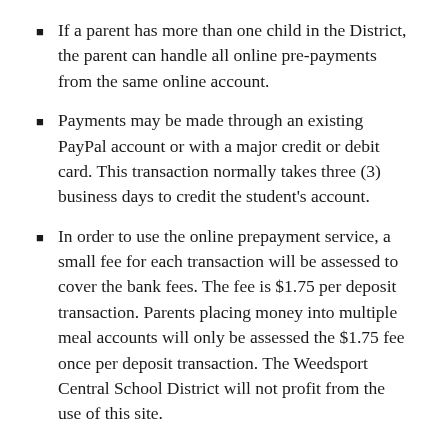If a parent has more than one child in the District, the parent can handle all online pre-payments from the same online account.
Payments may be made through an existing PayPal account or with a major credit or debit card. This transaction normally takes three (3) business days to credit the student's account.
In order to use the online prepayment service, a small fee for each transaction will be assessed to cover the bank fees. The fee is $1.75 per deposit transaction. Parents placing money into multiple meal accounts will only be assessed the $1.75 fee once per deposit transaction. The Weedsport Central School District will not profit from the use of this site.
Free and Reduced Information